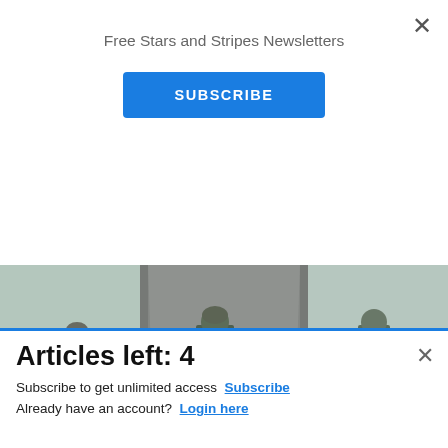Free Stars and Stripes Newsletters
SUBSCRIBE
[Figure (photo): Military soldiers in combat gear boarding or standing near an aircraft on a tarmac. A video play button overlay is visible in the center.]
[Figure (other): Commissary Click2Go advertisement banner showing the Click2Go logo and Commissary logo with text 'order groceries' and pickup text.]
Articles left: 4
Subscribe to get unlimited access  Subscribe
Already have an account?  Login here